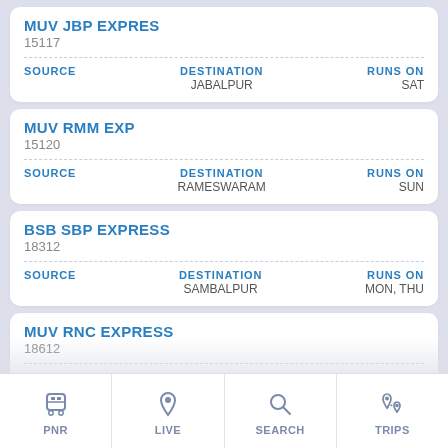MUV JBP EXPRES
15117
SOURCE | DESTINATION: JABALPUR | RUNS ON: SAT
MUV RMM EXP
15120
SOURCE | DESTINATION: RAMESWARAM | RUNS ON: SUN
BSB SBP EXPRESS
18312
SOURCE | DESTINATION: SAMBALPUR | RUNS ON: MON, THU
MUV RNC EXPRESS
18612
SOURCE | DESTINATION: RANCHI | RUNS ON: TUE, WED, SAT
PNR | LIVE | SEARCH | TRIPS